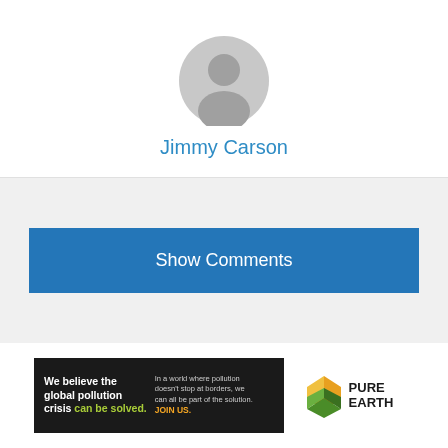[Figure (illustration): Gray default avatar/profile picture icon showing a silhouette of a person]
Jimmy Carson
Show Comments
[Figure (illustration): Pure Earth advertisement banner: black left section with text 'We believe the global pollution crisis can be solved.' and 'In a world where pollution doesn't stop at borders, we can all be part of the solution. JOIN US.' Right section shows Pure Earth logo diamond shape with text PURE EARTH]